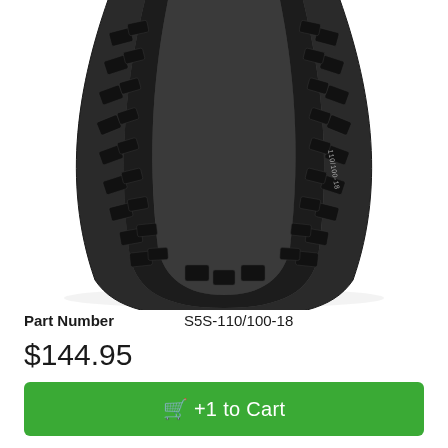[Figure (photo): Photograph of a knobby off-road motorcycle tire (motocross/dirt bike rear tire) viewed from below in a U-shape showing the tread pattern. The tire is black with aggressive block knobs and a grey sidewall with text markings.]
Part Number   S5S-110/100-18
$144.95
🛒 +1 to Cart
Qty In Cart   0   Update